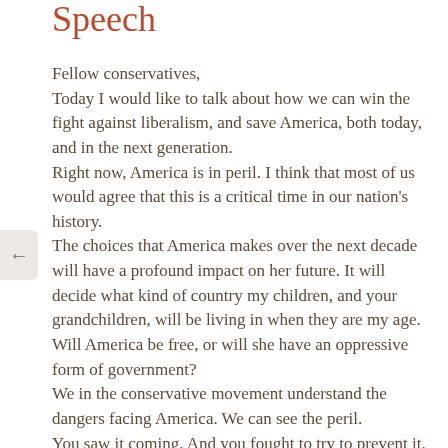Speech
Fellow conservatives,
Today I would like to talk about how we can win the fight against liberalism, and save America, both today, and in the next generation.
Right now, America is in peril. I think that most of us would agree that this is a critical time in our nation's history.
The choices that America makes over the next decade will have a profound impact on her future. It will decide what kind of country my children, and your grandchildren, will be living in when they are my age.
Will America be free, or will she have an oppressive form of government?
We in the conservative movement understand the dangers facing America. We can see the peril.
You saw it coming. And you fought to try to prevent it.
And we will continue to fight to turn America around.